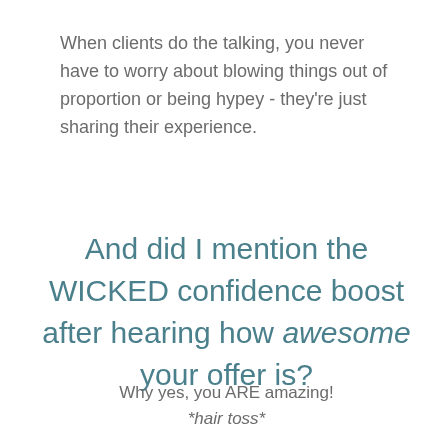When clients do the talking, you never have to worry about blowing things out of proportion or being hypey - they're just sharing their experience.
And did I mention the WICKED confidence boost after hearing how awesome your offer is?
Why yes, you ARE amazing!
*hair toss*